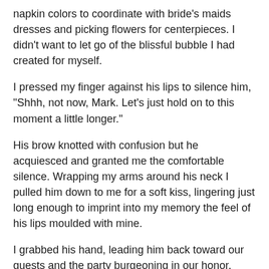napkin colors to coordinate with bride's maids dresses and picking flowers for centerpieces. I didn't want to let go of the blissful bubble I had created for myself.
I pressed my finger against his lips to silence him, "Shhh, not now, Mark. Let's just hold on to this moment a little longer."
His brow knotted with confusion but he acquiesced and granted me the comfortable silence. Wrapping my arms around his neck I pulled him down to me for a soft kiss, lingering just long enough to imprint into my memory the feel of his lips moulded with mine.
I grabbed his hand, leading him back toward our guests and the party burgeoning in our honor. "C'mon, let's not keep our guests waiting, they do, after all, expect to see the bride and groom at some point."
"But..." He pulled me to him with a gentle tug.
"Mark, please, let me have this one perfect day."